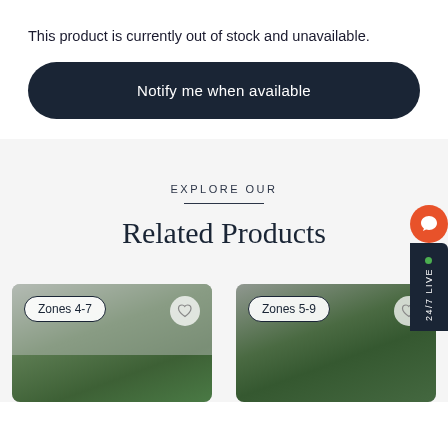This product is currently out of stock and unavailable.
Notify me when available
EXPLORE OUR
Related Products
[Figure (photo): Plant product card with 'Zones 4-7' badge and heart icon, showing green shrub against stone wall]
[Figure (photo): Plant product card with 'Zones 5-9' badge and heart icon, showing green shrub]